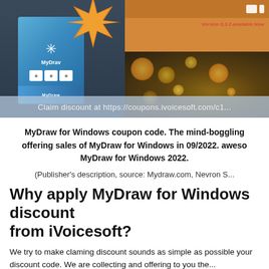[Figure (screenshot): MyDraw for Windows product box with starburst badge, bokeh Christmas lights background, and a banner reading 'Claim discount at https://coupons.ivoicesoft.com/c1...']
MyDraw for Windows coupon code. The mind-boggling offering sales of MyDraw for Windows in 09/2022. awesome MyDraw for Windows 2022.
(Publisher's description, source: Mydraw.com, Nevron S...
Why apply MyDraw for Windows discount from iVoicesoft?
We try to make claming discount sounds as simple as possible your discount code. We are collecting and offering to you the...